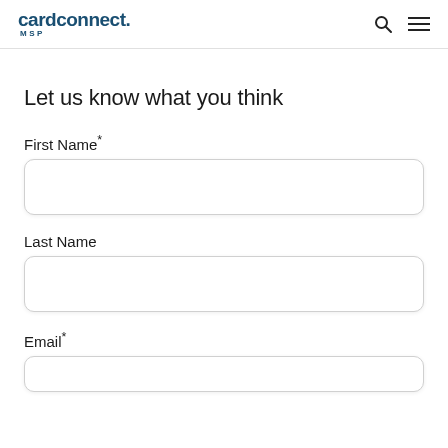cardconnect. MSP
Let us know what you think
First Name*
Last Name
Email*